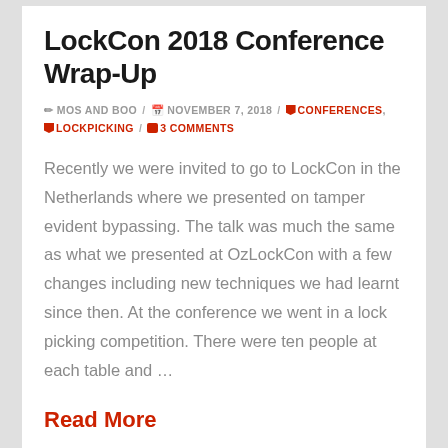LockCon 2018 Conference Wrap-Up
✏ MOS AND BOO / 📅 NOVEMBER 7, 2018 / 🏷 CONFERENCES, 🏷 LOCKPICKING / 💬 3 COMMENTS
Recently we were invited to go to LockCon in the Netherlands where we presented on tamper evident bypassing. The talk was much the same as what we presented at OzLockCon with a few changes including new techniques we had learnt since then. At the conference we went in a lock picking competition. There were ten people at each table and …
Read More